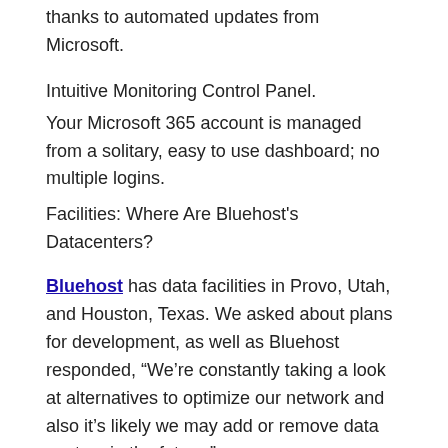thanks to automated updates from Microsoft.
Intuitive Monitoring Control Panel.
Your Microsoft 365 account is managed from a solitary, easy to use dashboard; no multiple logins.
Facilities: Where Are Bluehost's Datacenters?
Bluehost has data facilities in Provo, Utah, and Houston, Texas. We asked about plans for development, as well as Bluehost responded, “We’re constantly taking a look at alternatives to optimize our network and also it’s likely we may add or remove data centers in the future.”.
Remember that if you use the Cloudflare CDN, that gives you accessibility to Cloudflare’s network of information facilities around the world. This aids deliver content swiftly and boost page-load times, no matter where your consumers lie in regard to Bluehost’s datacenters.